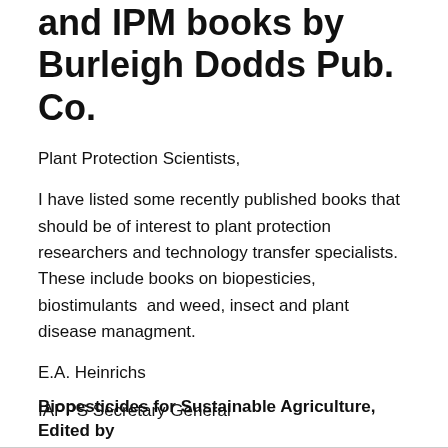and IPM books by Burleigh Dodds Pub. Co.
Plant Protection Scientists,
I have listed some recently published books that should be of interest to plant protection researchers and technology transfer specialists. These include books on biopesticies, biostimulants  and weed, insect and plant disease managment.
E.A. Heinrichs
IAPPS Secretary General
Biopesticides for Sustainable Agriculture, Edited by